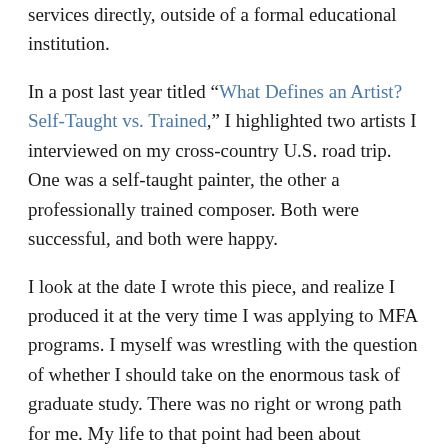services directly, outside of a formal educational institution.
In a post last year titled “What Defines an Artist? Self-Taught vs. Trained,” I highlighted two artists I interviewed on my cross-country U.S. road trip. One was a self-taught painter, the other a professionally trained composer. Both were successful, and both were happy.
I look at the date I wrote this piece, and realize I produced it at the very time I was applying to MFA programs. I myself was wrestling with the question of whether I should take on the enormous task of graduate study. There was no right or wrong path for me. My life to that point had been about creative growth outside